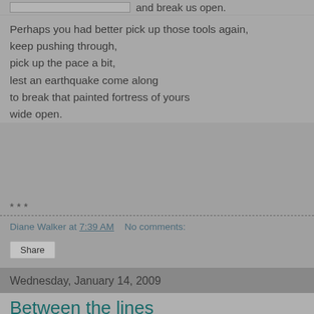and break us open.
Perhaps you had better pick up those tools again,
keep pushing through,
pick up the pace a bit,
lest an earthquake come along
to break that painted fortress of yours
wide open.
* * *
Diane Walker at 7:39 AM   No comments:
Share
Wednesday, January 14, 2009
Between the lines